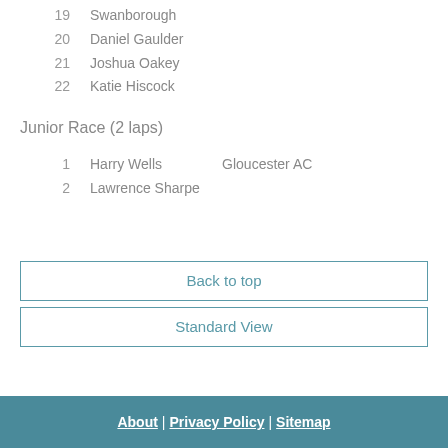19   Swanborough
20   Daniel Gaulder
21   Joshua Oakey
22   Katie Hiscock
Junior Race (2 laps)
1   Harry Wells   Gloucester AC
2   Lawrence Sharpe
Back to top
Standard View
About | Privacy Policy | Sitemap